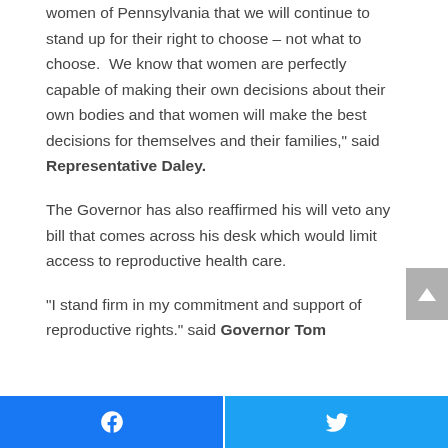women of Pennsylvania that we will continue to stand up for their right to choose – not what to choose.  We know that women are perfectly capable of making their own decisions about their own bodies and that women will make the best decisions for themselves and their families," said Representative Daley.
The Governor has also reaffirmed his will veto any bill that comes across his desk which would limit access to reproductive health care.
"I stand firm in my commitment and support of reproductive rights." said Governor Tom